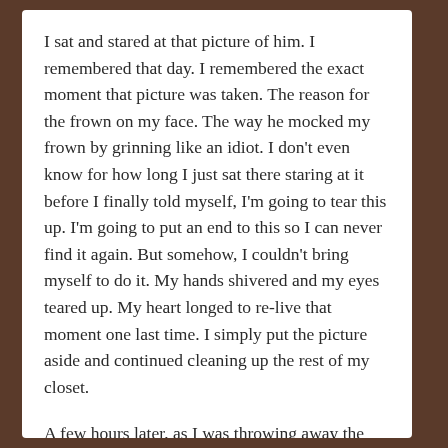I sat and stared at that picture of him. I remembered that day. I remembered the exact moment that picture was taken. The reason for the frown on my face. The way he mocked my frown by grinning like an idiot. I don't even know for how long I just sat there staring at it before I finally told myself, I'm going to tear this up. I'm going to put an end to this so I can never find it again. But somehow, I couldn't bring myself to do it. My hands shivered and my eyes teared up. My heart longed to re-live that moment one last time. I simply put the picture aside and continued cleaning up the rest of my closet.
A few hours later, as I was throwing away the last bits and pieces of unwanted things, I turned back to that picture and realization hit me. My heart did this too. Instead of just letting go of memories, it simply pushed them to a corner and moved on with other things. My